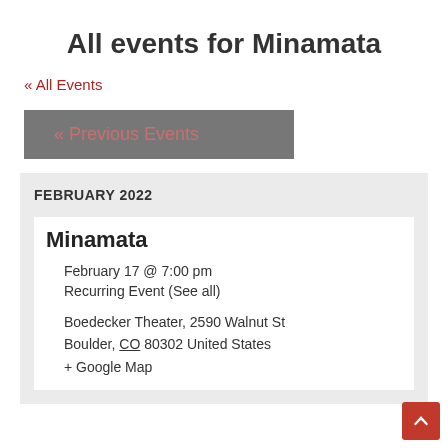All events for Minamata
« All Events
« Previous Events
FEBRUARY 2022
Minamata
February 17 @ 7:00 pm
Recurring Event (See all)
Boedecker Theater, 2590 Walnut St Boulder, CO 80302 United States + Google Map